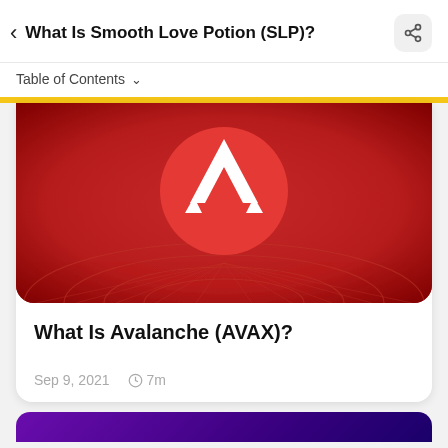< What Is Smooth Love Potion (SLP)?
Table of Contents ▾
[Figure (illustration): Avalanche (AVAX) logo — white A-shaped symbol on a red circle, set against a dark red radial background with concentric ellipse patterns]
What Is Avalanche (AVAX)?
Sep 9, 2021   🕐 7m